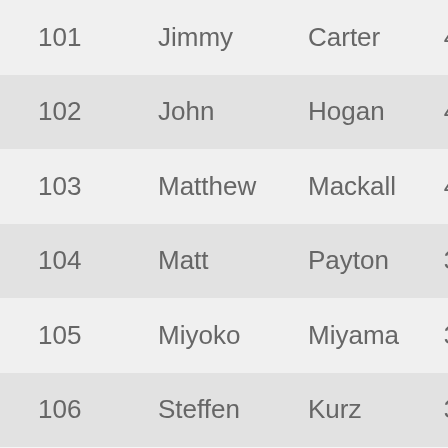| # | First Name | Last Name | Rank |
| --- | --- | --- | --- |
| 101 | Jimmy | Carter | 4 kyu |
| 102 | John | Hogan | 4 kyu |
| 103 | Matthew | Mackall | 4 kyu |
| 104 | Matt | Payton | 3 kyu |
| 105 | Miyoko | Miyama | 3 kyu |
| 106 | Steffen | Kurz | 3 kyu |